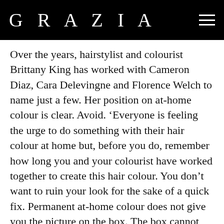GRAZIA
Over the years, hairstylist and colourist Brittany King has worked with Cameron Diaz, Cara Delevingne and Florence Welch to name just a few. Her position on at-home colour is clear. Avoid. ‘Everyone is feeling the urge to do something with their hair colour at home but, before you do, remember how long you and your colourist have worked together to create this hair colour. You don’t want to ruin your look for the sake of a quick fix. Permanent at-home colour does not give you the picture on the box. The box cannot consult your hair. It cannot see the colour of your natural base shade and create a formula just for you. Only your colourist can